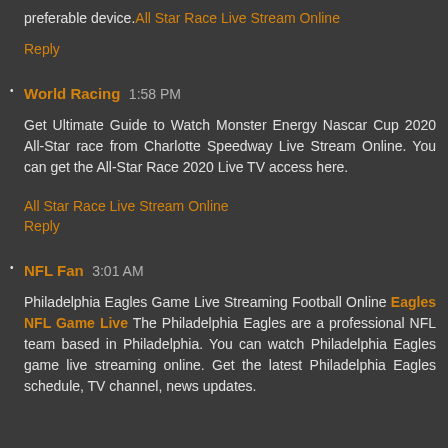preferable device. All Star Race Live Stream Online
Reply
World Racing 1:58 PM
Get Ultimate Guide to Watch Monster Energy Nascar Cup 2020 All-Star race from Charlotte Speedway Live Stream Online. You can get the All-Star Race 2020 Live TV access here.
All Star Race Live Stream Online
Reply
NFL Fan 3:01 AM
Philadelphia Eagles Game Live Streaming Football Online Eagles NFL Game Live The Philadelphia Eagles are a professional NFL team based in Philadelphia. You can watch Philadelphia Eagles game live streaming online. Get the latest Philadelphia Eagles schedule, TV channel, news updates.